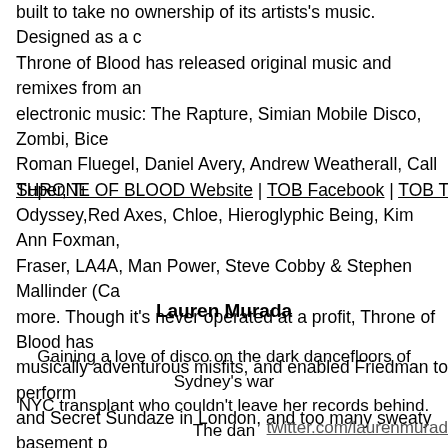built to take no ownership of its artists's music. Designed as a c... Throne of Blood has released original music and remixes from an electronic music: The Rapture, Simian Mobile Disco, Zombi, Bice Roman Fluegel, Daniel Avery, Andrew Weatherall, Call Super, Ti Odyssey,Red Axes, Chloe, Hieroglyphic Being, Kim Ann Foxman, Fraser, LA4A, Man Power, Steve Cobby & Stephen Mallinder (Ca more. Though it's never operated at a profit, Throne of Blood has musically adventurous misfits, and enabled Friedman to perform and Secret Sundaze in London, and too many sweaty basement p
THRONE OF BLOOD Website | TOB Facebook | TOB T
Lauren Murada
Gaining a love of disco on the dark dancefloors of Sydney's war NYC transplant who couldn't leave her records behind. The dan leftfield jams that bring out ones inner freak under the discoba dancing at Good Room where she works as the local party starte around Brooklyn at Bizarre Disco Party and Guadalupe Inn. Alw vinyl-sets are disco-laden with soul, funk, rock and italo re
twitter.com/laurenmurad